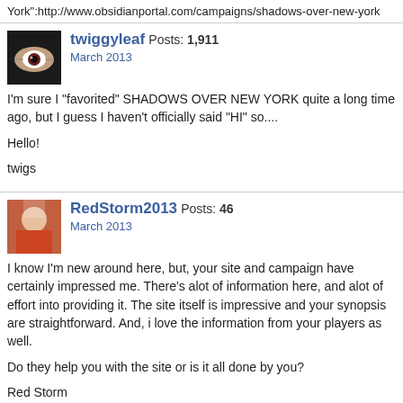York":http://www.obsidianportal.com/campaigns/shadows-over-new-york
twiggyleaf Posts: 1,911
March 2013

I'm sure I "favorited" SHADOWS OVER NEW YORK quite a long time ago, but I guess I haven't officially said "HI" so....

Hello!

twigs
RedStorm2013 Posts: 46
March 2013

I know I'm new around here, but, your site and campaign have certainly impressed me. There's alot of information here, and alot of effort into providing it. The site itself is impressive and your synopsis are straightforward. And, i love the information from your players as well.

Do they help you with the site or is it all done by you?

Red Storm
Keryth987 Posts: 997